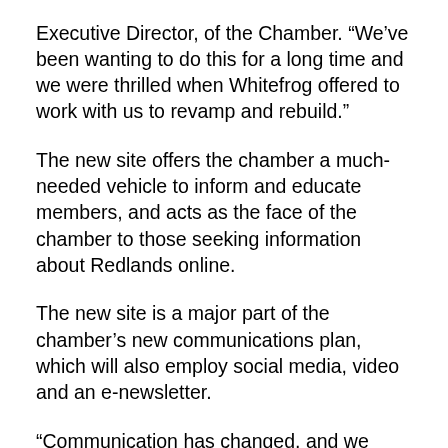Executive Director, of the Chamber. "We've been wanting to do this for a long time and we were thrilled when Whitefrog offered to work with us to revamp and rebuild."
The new site offers the chamber a much-needed vehicle to inform and educate members, and acts as the face of the chamber to those seeking information about Redlands online.
The new site is a major part of the chamber's new communications plan, which will also employ social media, video and an e-newsletter.
“Communication has changed, and we realized we have to change how we communicate. We have to reach out on all platforms to best